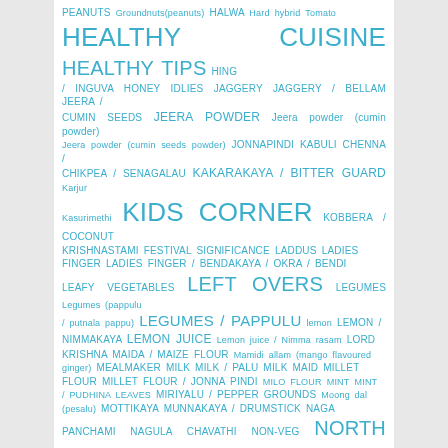[Figure (infographic): Tag cloud of food and recipe related terms in shades of blue, varying font sizes indicating frequency/importance. Terms include: PEANUTS, Groundnuts(peanuts), HALWA, Hard, hybrid, Tomato, HEALTHY CUISINE, HEALTHY TIPS, HING / INGUVA, HONEY, IDLIES, JAGGERY, JAGGERY / BELLAM, JEERA / CUMIN SEEDS, JEERA POWDER, Jeera powder (cumin powder), Jeera powder (cumin seeds powder), JONNAPINDI, KABULI CHENNA / CHIKPEA / SENAGALAU, KAKARAKAYA / BITTER GUARD, Karjur, Kasurimethi, KIDS CORNER, KOBBERA / COCONUT, KRISHNASTAMI FESTIVAL SIGNIFICANCE, LADDUS, LADIES FINGER, LADIES FINGER / BENDAKAYA / OKRA / BENDI, LEAFY VEGETABLES, LEFT OVERS, LEGUMES, Legumes (pappulu / putnala pappu), LEGUMES / PAPPULU, lemon, LEMON / NIMMAKAYA, LEMON JUICE, Lemon juice / Nimma rasam, LORD KRISHNA, MAIDA / MAIZE FLOUR, Mamidi allam (mango flavoured ginger), MEALMAKER, MILK, MILK / PALU, MILK MAID, MILLET FLOUR, MILLET FLOUR / JONNA PINDI, MILO FLOUR, MINT, MINT / PUDHINA LEAVES, MIRIYALU / PEPPER GROUNDS, Moong dal (pesalu), MOTTIKAYA, MUNNAKAYA / DRUMSTICK, NAGA PANCHAMI, NAGULA CHAVATHI, NON-VEG, NORTH INDIAN CUISINE, NUKA S, NUTRITIOUS VALUES, NUVVULU / SEASAME SEEDS, OATS, OKRA, ONION, ONIONS, Orange Food Colour, OREGANO, PACHI KOBBERA / FRESH COCONUT, PALAK LEAVES, PALAKURA / PALAK / SPINACH, PANEER, PAPPUKURA, PAPPULU, PARATHAS, PAROTAS, ROTIS, BREADS, PARATHAS PAROTAS ROTIS BREADS, PASTE, PAYASAM KHEER, PAYASAM KHEER, Peanuts (roasted ground nuts), Pepper, PESALU / GREEN MUNG BEAN, PESARAPAPPU / GREEN GRAM DAL, PICKLES, PINDI VONTALU]